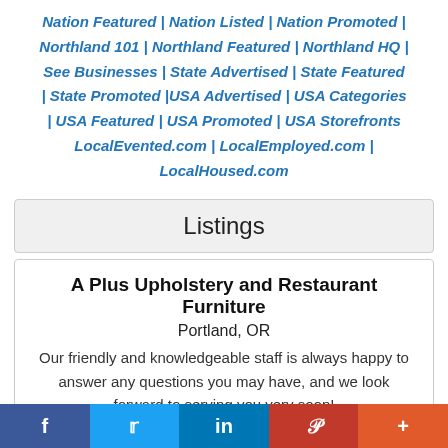Nation Featured | Nation Listed | Nation Promoted | Northland 101 | Northland Featured | Northland HQ | See Businesses | State Advertised | State Featured | State Promoted |USA Advertised | USA Categories | USA Featured | USA Promoted | USA Storefronts LocalEvented.com | LocalEmployed.com | LocalHoused.com
Listings
A Plus Upholstery and Restaurant Furniture
Portland, OR
Our friendly and knowledgeable staff is always happy to answer any questions you may have, and we look forward to serving you very soon!
f | Twitter | in | Pinterest | +